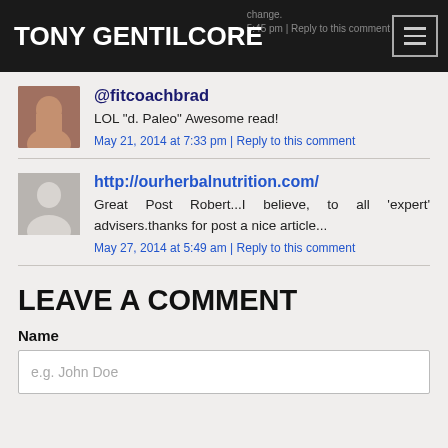TONY GENTILCORE
@fitcoachbrad
LOL "d. Paleo" Awesome read!
May 21, 2014 at 7:33 pm | Reply to this comment
http://ourherbalnutrition.com/
Great Post Robert...I believe, to all 'expert' advisers.thanks for post a nice article...
May 27, 2014 at 5:49 am | Reply to this comment
LEAVE A COMMENT
Name
e.g. John Doe